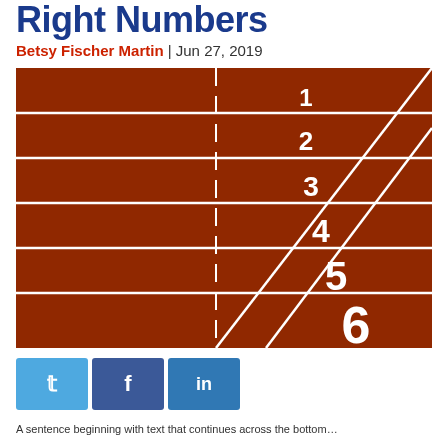Right Numbers
Betsy Fischer Martin | Jun 27, 2019
[Figure (photo): Aerial view of a red running track showing lane markings numbered 1 through 6, with white lane lines and numbers painted on the surface, viewed from a perspective angle.]
Social media share buttons: Twitter, Facebook, LinkedIn
A sentence beginning with text that continues below...